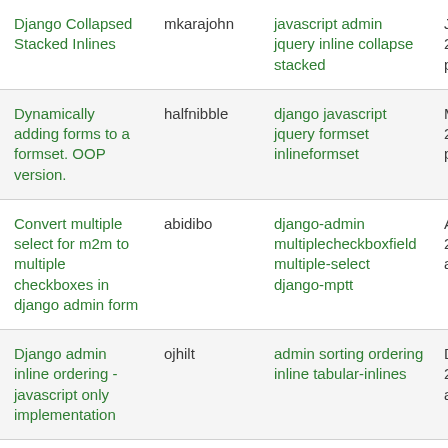| Title | User | Tags | Date |
| --- | --- | --- | --- |
| Django Collapsed Stacked Inlines | mkarajohn | javascript admin jquery inline collapse stacked | Jan. 11, 2021, 2:3 p.m. |
| Dynamically adding forms to a formset. OOP version. | halfnibble | django javascript jquery formset inlineformset | May 13, 2015, 5:4 p.m. |
| Convert multiple select for m2m to multiple checkboxes in django admin form | abidibo | django-admin multiplecheckboxfield multiple-select django-mptt | April 12, 2013, 4:1 a.m. |
| Django admin inline ordering - javascript only implementation | ojhilt | admin sorting ordering inline tabular-inlines | Dec. 5, 2012, 6:3 a.m. |
| Google v3 |  | admin google-maps | Oct. 31 |